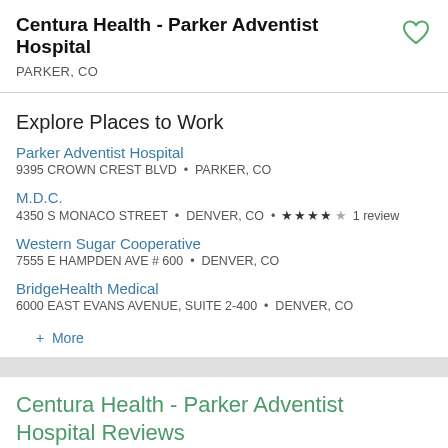Centura Health - Parker Adventist Hospital
PARKER, CO
Explore Places to Work
Parker Adventist Hospital
9395 CROWN CREST BLVD • PARKER, CO
M.D.C.
4350 S MONACO STREET • DENVER, CO • ★★★★☆ 1 review
Western Sugar Cooperative
7555 E HAMPDEN AVE # 600 • DENVER, CO
BridgeHealth Medical
6000 EAST EVANS AVENUE, SUITE 2-400 • DENVER, CO
+ More
Centura Health - Parker Adventist Hospital Reviews